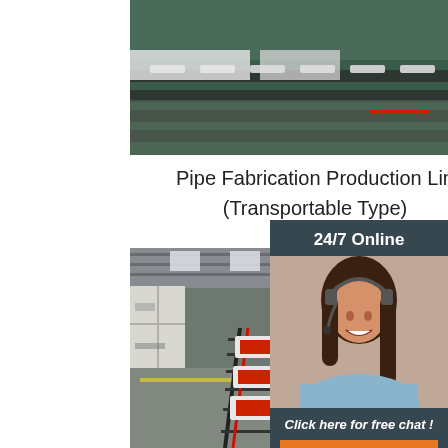[Figure (photo): Top-down view of pipe fabrication production line machinery with conveyor/rail system in an industrial factory setting]
Pipe Fabrication Production Line
(Transportable Type)
[Figure (photo): Customer service representative woman wearing headset smiling, used in 24/7 Online support sidebar]
24/7 Online
Click here for free chat !
QUOTATION
[Figure (photo): Interior of large industrial warehouse/factory hall showing pipe fabrication production line with shipping containers along walls, red and white machinery on rail tracks running down the center of the floor]